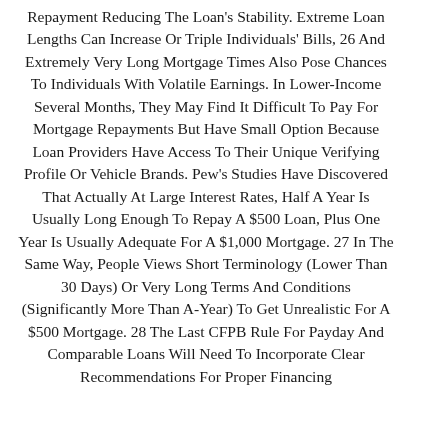Repayment Reducing The Loan's Stability. Extreme Loan Lengths Can Increase Or Triple Individuals' Bills, 26 And Extremely Very Long Mortgage Times Also Pose Chances To Individuals With Volatile Earnings. In Lower-Income Several Months, They May Find It Difficult To Pay For Mortgage Repayments But Have Small Option Because Loan Providers Have Access To Their Unique Verifying Profile Or Vehicle Brands. Pew's Studies Have Discovered That Actually At Large Interest Rates, Half A Year Is Usually Long Enough To Repay A $500 Loan, Plus One Year Is Usually Adequate For A $1,000 Mortgage. 27 In The Same Way, People Views Short Terminology (Lower Than 30 Days) Or Very Long Terms And Conditions (Significantly More Than A-Year) To Get Unrealistic For A $500 Mortgage. 28 The Last CFPB Rule For Payday And Comparable Loans Will Need To Incorporate Clear Recommendations For Proper Financing